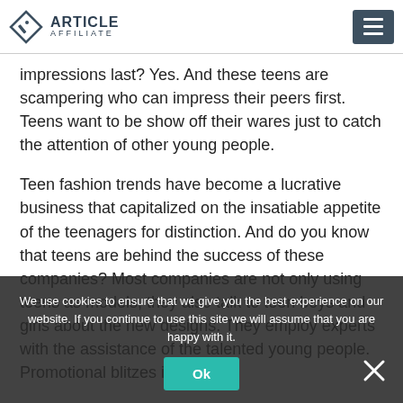ARTICLE AFFILIATE
impressions last? Yes. And these teens are scampering who can impress their peers first. Teens want to be show off their wares just to catch the attention of other young people.
Teen fashion trends have become a lucrative business that capitalized on the insatiable appetite of the teenagers for distinction. And do you know that teens are behind the success of these companies? Most companies are not only using teens as models, they also talk to teen boys and girls about the new designs. They employ experts with the assistance of the talented young people. Promotional blitzes including
We use cookies to ensure that we give you the best experience on our website. If you continue to use this site we will assume that you are happy with it.